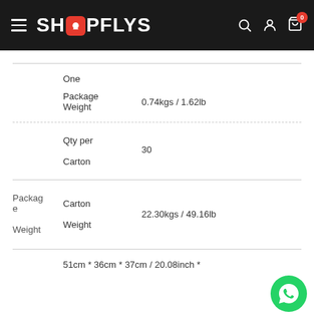[Figure (screenshot): ShopFlys website header with logo, hamburger menu, search, user, and cart icons on dark background]
| One |  |  |
| Package
Weight | 0.74kgs / 1.62lb |  |
|  |  |  |
| Qty per
Carton | 30 |  |
| Package
e
Weight | Carton
Weight | 22.30kgs / 49.16lb |
|  | 51cm * 36cm * 37cm / 20.08inch * |  |